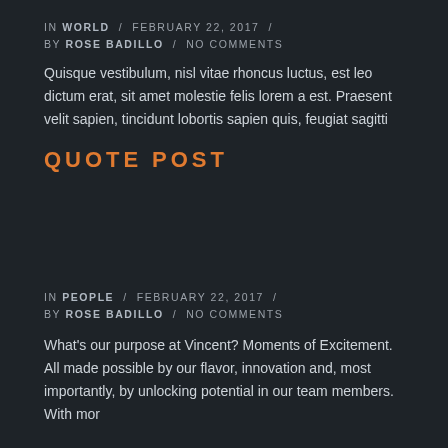IN WORLD  /  FEBRUARY 22, 2017  /  BY ROSE BADILLO  /  NO COMMENTS
Quisque vestibulum, nisl vitae rhoncus luctus, est leo dictum erat, sit amet molestie felis lorem a est. Praesent velit sapien, tincidunt lobortis sapien quis, feugiat sagitti
QUOTE POST
IN PEOPLE  /  FEBRUARY 22, 2017  /  BY ROSE BADILLO  /  NO COMMENTS
What's our purpose at Vincent? Moments of Excitement. All made possible by our flavor, innovation and, most importantly, by unlocking potential in our team members. With mor